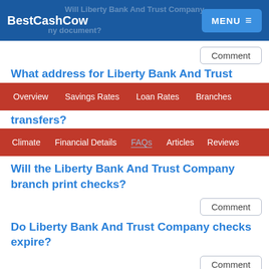BestCashCow | MENU
Will Liberty Bank And Trust Company ... my document?
What address for Liberty Bank And Trust
Overview | Savings Rates | Loan Rates | Branches
transfers?
Climate | Financial Details | FAQs | Articles | Reviews
Comment
Will the Liberty Bank And Trust Company branch print checks?
Comment
Do Liberty Bank And Trust Company checks expire?
Comment
Does Liberty Bank And Trust Company require US citizenship to open account?